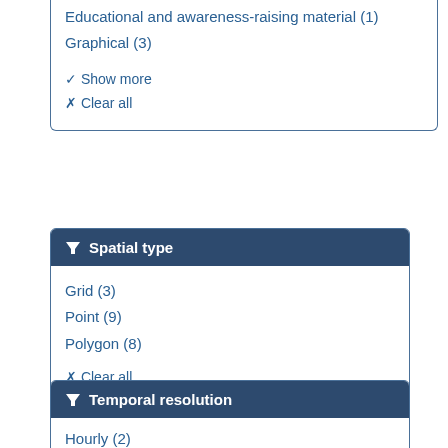Educational and awareness-raising material (1)
Graphical (3)
✔ Show more
✖ Clear all
Spatial type
Grid (3)
Point (9)
Polygon (8)
✖ Clear all
Temporal resolution
Hourly (2)
Daily (6)
Monthly (2)